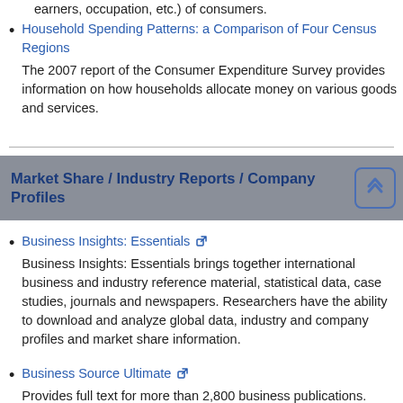earners, occupation, etc.) of consumers.
Household Spending Patterns: a Comparison of Four Census Regions
The 2007 report of the Consumer Expenditure Survey provides information on how households allocate money on various goods and services.
Market Share / Industry Reports / Company Profiles
Business Insights: Essentials
Business Insights: Essentials brings together international business and industry reference material, statistical data, case studies, journals and newspapers. Researchers have the ability to download and analyze global data, industry and company profiles and market share information.
Business Source Ultimate
Provides full text for more than 2,800 business publications.